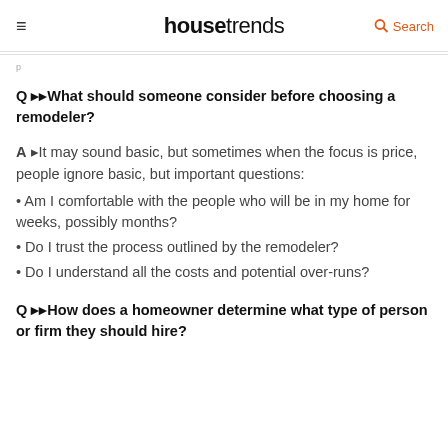housetrends
Q ▸▸What should someone consider before choosing a remodeler?
A ▸It may sound basic, but sometimes when the focus is price, people ignore basic, but important questions:
• Am I comfortable with the people who will be in my home for weeks, possibly months?
• Do I trust the process outlined by the remodeler?
• Do I understand all the costs and potential over-runs?
Q ▸▸How does a homeowner determine what type of person or firm they should hire?